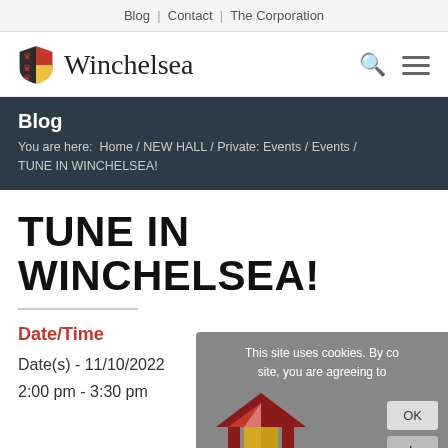Blog | Contact | The Corporation
Winchelsea
Blog
You are here: Home / NEW HALL / Private: Events / Events / TUNE IN WINCHELSEA!
TUNE IN WINCHELSEA!
Date/Time
Date(s) - 11/10/2022
2:00 pm - 3:30 pm
[Figure (logo): Winchelsea New Hall logo with a barn/house shape in dark red and yellow, with text WINCHELSEA NEW HALL below]
This site uses cookies. By co site, you are agreeing to OK